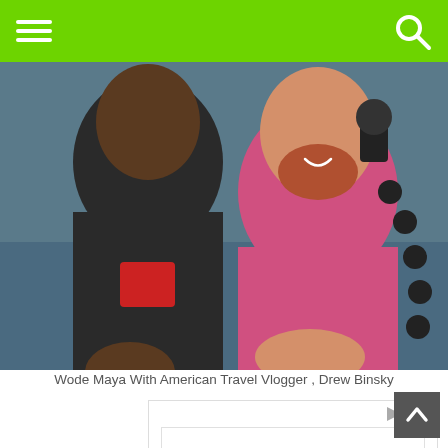Navigation bar with menu and search icons
[Figure (photo): Two men posing together outdoors near water. One man in a dark t-shirt with a red graphic, and another man in a pink shirt holding a flexible tripod with a camera.]
Wode Maya With American Travel Vlogger , Drew Binsky
[Figure (screenshot): Advertisement banner with text 'Life Long Learning at' in large bold serif font on white background with a light border.]